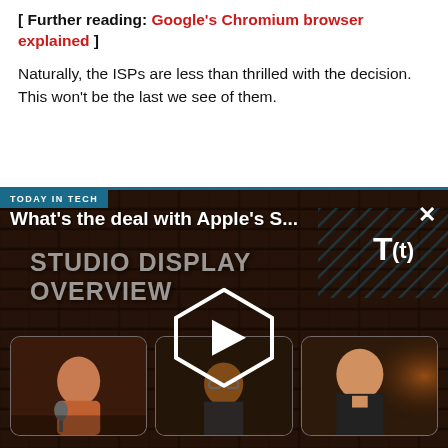[ Further reading: Google's Chromium browser explained ]
Naturally, the ISPs are less than thrilled with the decision. This won't be the last we see of them.
[Figure (screenshot): Video player thumbnail showing 'TODAY IN TECH' badge, title 'What's the deal with Apple's S...' overlaid on 'STUDIO DISPLAY OVERVIEW', T(t) logo, play button, and three person thumbnails in a dark brick-background video frame.]